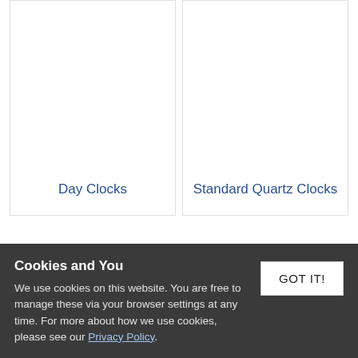Day Clocks
Standard Quartz Clocks
Cookies and You
We use cookies on this website. You are free to manage these via your browser settings at any time. For more about how we use cookies, please see our Privacy Policy.